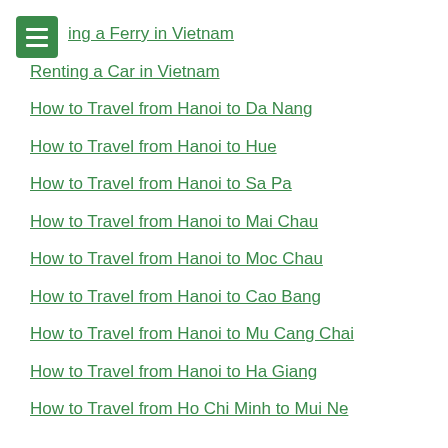ing a Ferry in Vietnam
Renting a Car in Vietnam
How to Travel from Hanoi to Da Nang
How to Travel from Hanoi to Hue
How to Travel from Hanoi to Sa Pa
How to Travel from Hanoi to Mai Chau
How to Travel from Hanoi to Moc Chau
How to Travel from Hanoi to Cao Bang
How to Travel from Hanoi to Mu Cang Chai
How to Travel from Hanoi to Ha Giang
How to Travel from Ho Chi Minh to Mui Ne